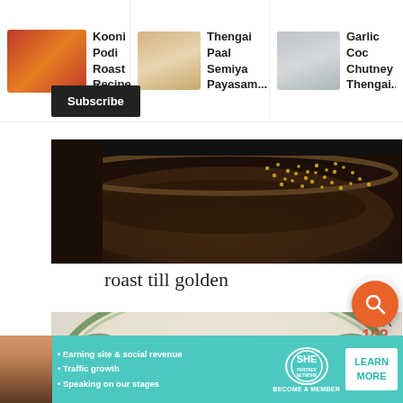[Figure (photo): Top navigation bar showing three recipe cards: Kooni Podi Roast Recipe (with red dish thumbnail), Thengai Paal Semiya Payasam... (with creamy dessert thumbnail), Garlic Coconut Chutney Thenga... (with chutney thumbnail)]
Kooni Podi Roast Recipe
Thengai Paal Semiya Payasam...
Garlic Coconut Chutney Thenga...
Subscribe
[Figure (photo): Close-up photo of a dark cooking pan/wok on a stove with golden roasted seeds/spices scattered in it]
roast till golden
[Figure (photo): A white decorative plate with blue and green floral border containing a pile of golden-brown roasted coriander seeds or similar spices]
[Figure (infographic): Bottom advertisement banner for SHE Partner Network with teal background, woman photo, bullet points: Earning site & social revenue, Traffic growth, Speaking on our stages. SHE PARTNER NETWORK BECOME A MEMBER logo and LEARN MORE button]
102